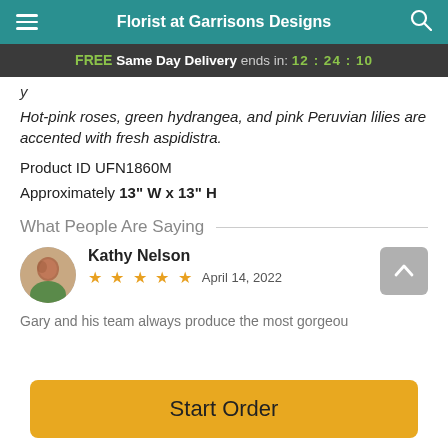Florist at Garrisons Designs
FREE Same Day Delivery ends in: 12:24:10
y
Hot-pink roses, green hydrangea, and pink Peruvian lilies are accented with fresh aspidistra.
Product ID UFN1860M
Approximately 13" W x 13" H
What People Are Saying
Kathy Nelson
★★★★★  April 14, 2022
Gary and his team always produce the most gorgeous
Start Order